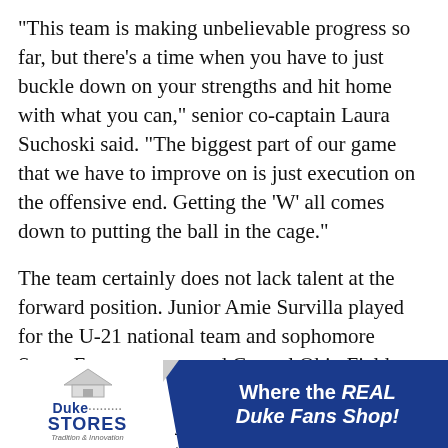"This team is making unbelievable progress so far, but there's a time when you have to just buckle down on your strengths and hit home with what you can," senior co-captain Laura Suchoski said. "The biggest part of our game that we have to improve on is just execution on the offensive end. Getting the 'W' all comes down to putting the ball in the cage."
The team certainly does not lack talent at the forward position. Junior Amie Survilla played for the U-21 national team and sophomore Susan Ferger was named Central Ohio Field Hockey Player of the Year in 2006. Since the Blue Devils already possess the technical skill needed to light up the scoreboard, maintaining mental toughness will be the key to increas...
[Figure (other): Duke Stores advertisement banner: white section with Duke Stores logo (house icon, dotted line, 'Duke STORES' text, 'Tradition & Innovation' tagline) next to a blue section with white bold italic text 'Where the REAL Duke Fans Shop!']